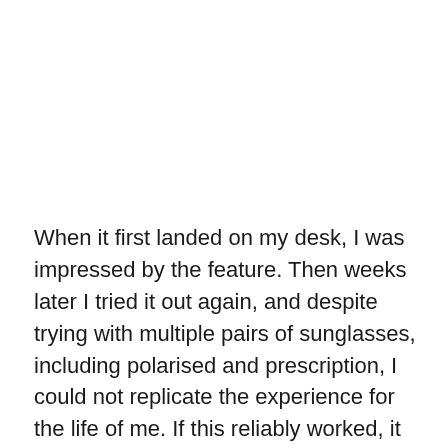When it first landed on my desk, I was impressed by the feature. Then weeks later I tried it out again, and despite trying with multiple pairs of sunglasses, including polarised and prescription, I could not replicate the experience for the life of me. If this reliably worked, it would be a winner, but I cannot tell the difference between either phone's display when the brightness is turned up. I suspect the phone I was comparing it to initially had its